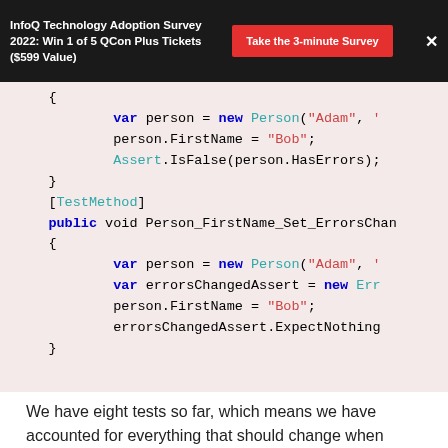InfoQ Technology Adoption Survey 2022: Win 1 of 5 QCon Plus Tickets ($599 Value)   Take the 3-minute Survey   ×
[Figure (screenshot): Code block showing C# test methods with syntax highlighting on a light pink background. Shows var person = new Person("Adam", ...), person.FirstName = "Bob";, Assert.IsFalse(person.HasErrors);, closing brace, [TestMethod], public void Person_FirstName_Set_ErrorsChan..., opening brace, var person = new Person("Adam", ...), var errorsChangedAssert = new Err..., person.FirstName = "Bob";, errorsChangedAssert.ExpectNothing..., closing brace]
We have eight tests so far, which means we have accounted for everything that should change when